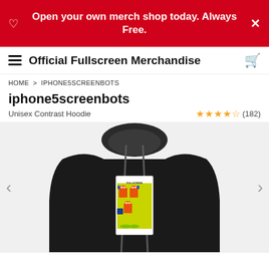Open your own merch shop today. Always Free.
Official Fullscreen Merchandise
HOME > IPHONE5SCREENBOTS
iphone5screenbots
Unisex Contrast Hoodie
★★★★½ (182)
[Figure (photo): Black unisex contrast hoodie with a colorful pixel art graphic on the chest featuring robots and FULLSCREEN branding on a yellow background]